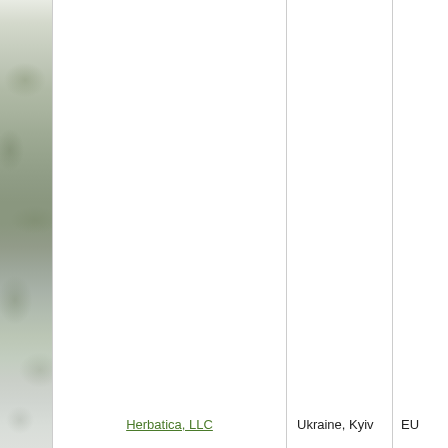[Figure (photo): Left side panel showing a faded/washed-out nature photograph with foliage/trees in muted green and grey tones]
Herbatica, LLC
Ukraine, Kyiv
EU